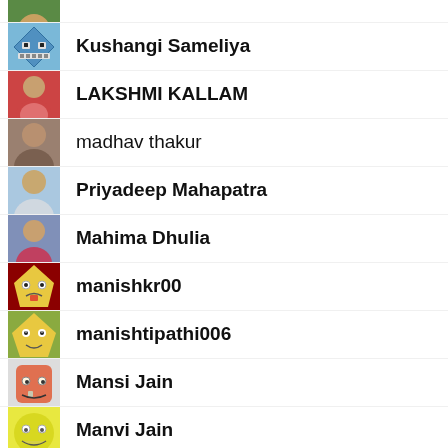Kushangi Sameliya
LAKSHMI KALLAM
madhav thakur
Priyadeep Mahapatra
Mahima Dhulia
manishkr00
manishtipathi006
Mansi Jain
Manvi Jain